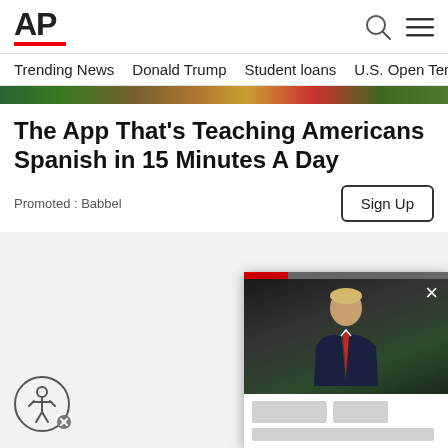AP
Trending News | Donald Trump | Student loans | U.S. Open Tenn
[Figure (photo): Colorful banner strip image with green, brown, gold, red tones]
The App That's Teaching Americans Spanish in 15 Minutes A Day
Promoted : Babbel
[Figure (screenshot): Floating video player showing a man in a suit, with a red progress bar at top and a close X button. Below the video are blurred control elements.]
[Figure (other): Accessibility button (person in circle icon) at bottom left of gray area]